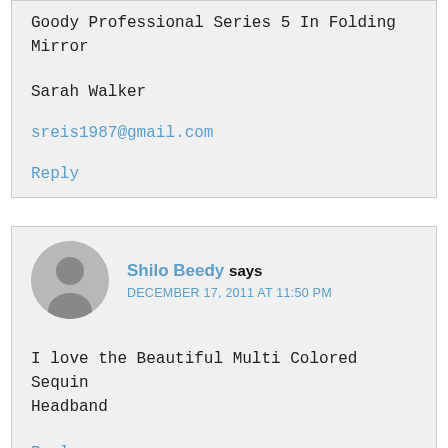Goody Professional Series 5 In Folding Mirror
Sarah Walker
sreis1987@gmail.com
Reply
Shilo Beedy says
DECEMBER 17, 2011 AT 11:50 PM
I love the Beautiful Multi Colored Sequin Headband
Reply